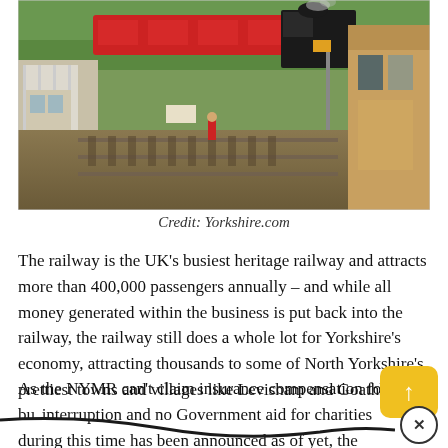[Figure (photo): A heritage steam railway scene showing a steam locomotive on tracks with signal boxes, a brick building on the right, and white fencing on the left. Red passenger carriages are visible behind the black steam engine.]
Credit: Yorkshire.com
The railway is the UK's busiest heritage railway and attracts more than 400,000 passengers annually – and while all money generated within the business is put back into the railway, the railway still does a whole lot for Yorkshire's economy, attracting thousands to some of North Yorkshire's prettiest towns and villages like Levisham and Goathland.
As the NYMR can't claim insurance compensation for business interruption and no Government aid for charities during this time has been announced as of yet, the NYMR are asking for donations to ensure their survival throughout the crisis